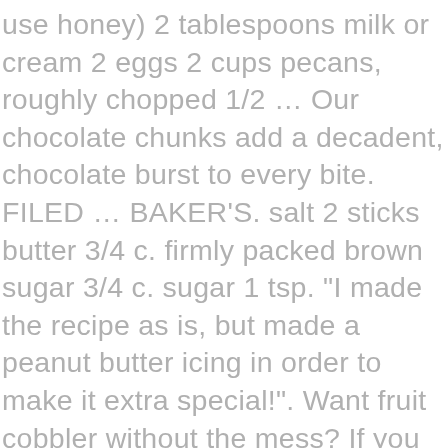use honey) 2 tablespoons milk or cream 2 eggs 2 cups pecans, roughly chopped 1/2 ... Our chocolate chunks add a decadent, chocolate burst to every bite. FILED ... BAKER'S. salt 2 sticks butter 3/4 c. firmly packed brown sugar 3/4 c. sugar 1 tsp. "I made the recipe as is, but made a peanut butter icing in order to make it extra special!". Want fruit cobbler without the mess? If you are choosing chocolate morsels, also called chocolate chips, instead of semi-sweet baking squares, this is an easy substitution to make, if you keep in mind a few caveats. Sweet chocolate has more sugar. "This is a great one to add to your baking gifts for the holidays. Where imagination, messes and licking the spoon are part of the best recipe for time well spent. I'm thinking that means a semi sweet chocolate bar chopped up. This no-bake dessert was made famous in British Columbia, Canada, specifically in the town of Nanaimo.